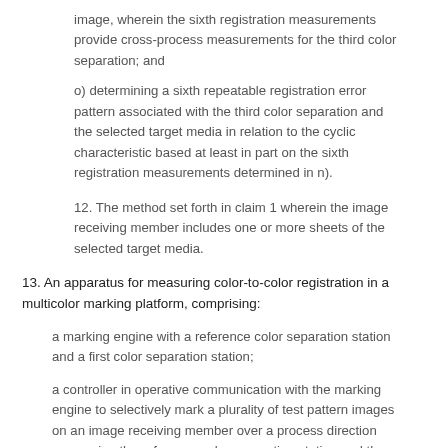image, wherein the sixth registration measurements provide cross-process measurements for the third color separation; and
o) determining a sixth repeatable registration error pattern associated with the third color separation and the selected target media in relation to the cyclic characteristic based at least in part on the sixth registration measurements determined in n).
12. The method set forth in claim 1 wherein the image receiving member includes one or more sheets of the selected target media.
13. An apparatus for measuring color-to-color registration in a multicolor marking platform, comprising:
a marking engine with a reference color separation station and a first color separation station;
a controller in operative communication with the marking engine to selectively mark a plurality of test pattern images on an image receiving member over a process direction span using the reference color separation station and the first color